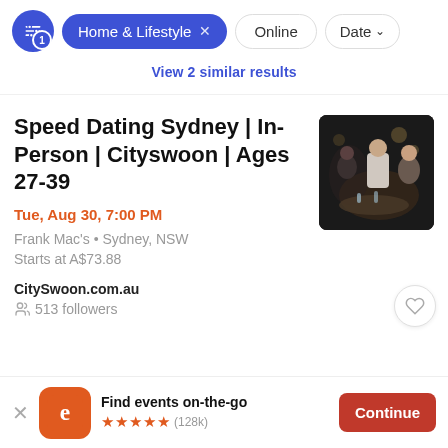[Figure (screenshot): Filter bar with active 'Home & Lifestyle' pill, 'Online' and 'Date' filter buttons]
View 2 similar results
Speed Dating Sydney | In-Person | Cityswoon | Ages 27-39
Tue, Aug 30, 7:00 PM
Frank Mac's • Sydney, NSW
Starts at A$73.88
CitySwoon.com.au
513 followers
[Figure (photo): People socializing at a bar/restaurant, dark ambiance]
Find events on-the-go ★★★★★ (128k)
Continue